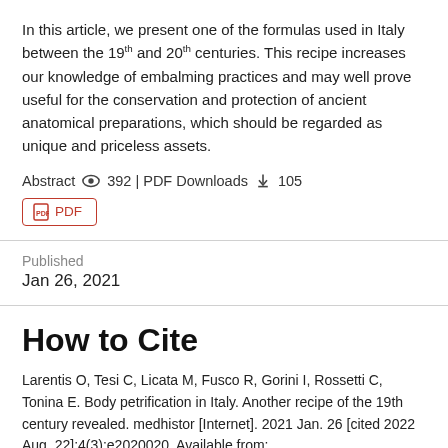In this article, we present one of the formulas used in Italy between the 19th and 20th centuries. This recipe increases our knowledge of embalming practices and may well prove useful for the conservation and protection of ancient anatomical preparations, which should be regarded as unique and priceless assets.
Abstract 👁 392 | PDF Downloads ⬇ 105
PDF
Published
Jan 26, 2021
How to Cite
Larentis O, Tesi C, Licata M, Fusco R, Gorini I, Rossetti C, Tonina E. Body petrification in Italy. Another recipe of the 19th century revealed. medhistor [Internet]. 2021 Jan. 26 [cited 2022 Aug. 22];4(3):e2020020. Available from: https://mattioli1885journals.com/index.php/MedHistor/article/view/11143